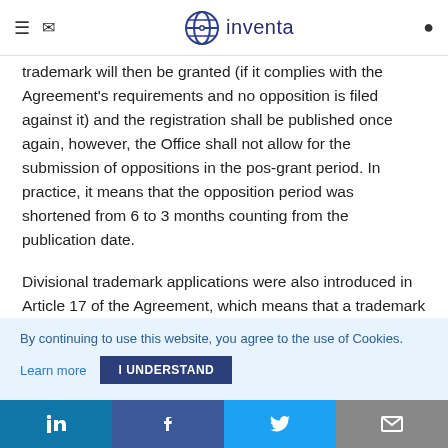inventa (logo with navigation icons)
trademark will then be granted (if it complies with the Agreement's requirements and no opposition is filed against it) and the registration shall be published once again, however, the Office shall not allow for the submission of oppositions in the pos-grant period. In practice, it means that the opposition period was shortened from 6 to 3 months counting from the publication date.
Divisional trademark applications were also introduced in Article 17 of the Agreement, which means that a trademark can be divided by the applicant into several trademark applications, this mechanism may be useful
By continuing to use this website, you agree to the use of Cookies.
Learn more   I UNDERSTAND